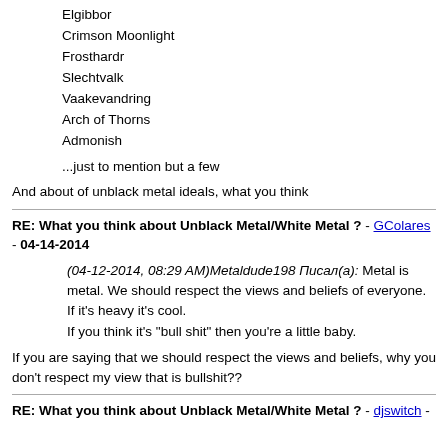Elgibbor
Crimson Moonlight
Frosthardr
Slechtvalk
Vaakevandring
Arch of Thorns
Admonish
...just to mention but a few
And about of unblack metal ideals, what you think
RE: What you think about Unblack Metal/White Metal ? - GColares - 04-14-2014
(04-12-2014, 08:29 AM)Metaldude198 Писал(а): Metal is metal. We should respect the views and beliefs of everyone. If it's heavy it's cool.
If you think it's "bull shit" then you're a little baby.
If you are saying that we should respect the views and beliefs, why you don't respect my view that is bullshit??
RE: What you think about Unblack Metal/White Metal ? - djswitch -